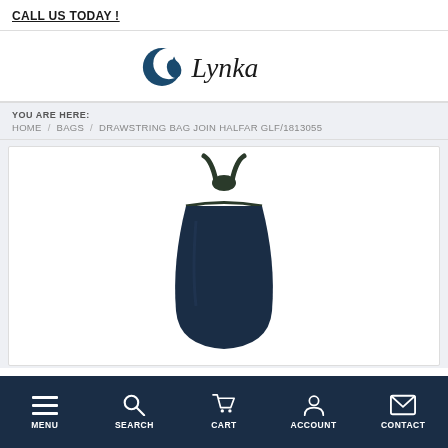CALL US TODAY !
[Figure (logo): Lynka logo with crescent moon/drop icon in dark teal and 'Lynka' text]
YOU ARE HERE:
HOME / BAGS / DRAWSTRING BAG JOIN HALFAR GLF/1813055
[Figure (photo): Navy blue drawstring bag photographed from above, showing the top with drawstring cords pulled up, against a white background]
MENU  SEARCH  CART  ACCOUNT  CONTACT